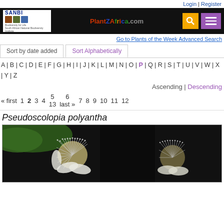Login | Register
[Figure (logo): SANBI and PlantZAfrica.com website header with search and menu buttons on black background]
Go to Plants of the Week Advanced Search
Sort by date added | Sort Alphabetically
A | B | C | D | E | F | G | H | I | J | K | L | M | N | O | P | Q | R | S | T | U | V | W | X | Y | Z
Ascending | Descending
« first  1  2  3  4  5  6  7  8  9  10  11  12  13  last »
Pseudoscolopia polyantha
[Figure (photo): Close-up photo of white flowers with multiple stamens of Pseudoscolopia polyantha against dark background with green leaf]